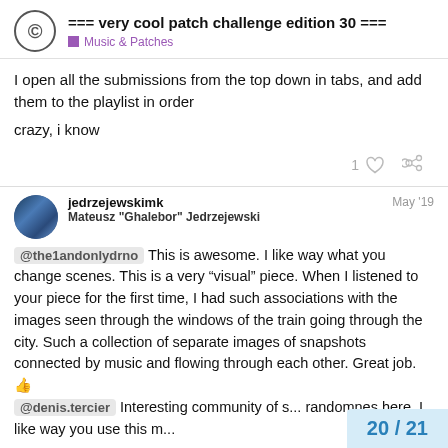=== very cool patch challenge edition 30 === | Music & Patches
I open all the submissions from the top down in tabs, and add them to the playlist in order
crazy, i know
jedrzejewskimk  Mateusz "Ghalebor" Jedrzejewski  May '19
@the1andonlydrno This is awesome. I like way what you change scenes. This is a very “visual” piece. When I listened to your piece for the first time, I had such associations with the images seen through the windows of the train going through the city. Such a collection of separate images of snapshots connected by music and flowing through each other. Great job. 👍 @denis.tercier Interesting community of s... randomnes here. I like way you use this m...
20 / 21